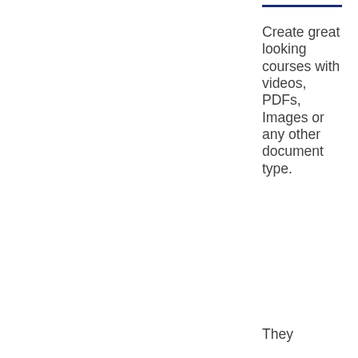Create great looking courses with videos, PDFs, Images or any other document type.
They